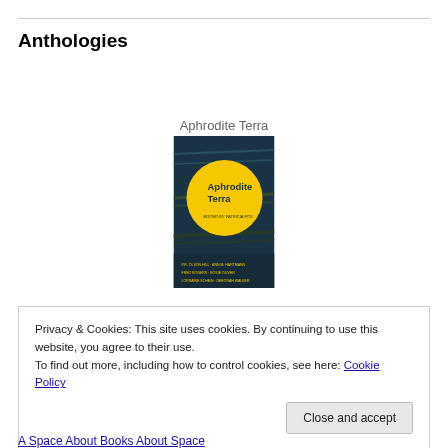Anthologies
Aphrodite Terra
[Figure (photo): Book cover of 'Aphrodite Terra' — dark teal/navy background with horizontal wavy lines and a large yellow circle; title text in dark letters inside the circle; author names at the bottom in yellow text.]
Privacy & Cookies: This site uses cookies. By continuing to use this website, you agree to their use.
To find out more, including how to control cookies, see here: Cookie Policy
Close and accept
A Space About Books About Space